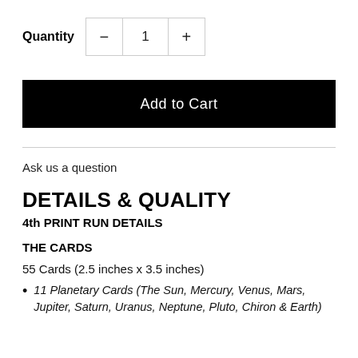Quantity  −  1  +
Add to Cart
Ask us a question
DETAILS & QUALITY
4th PRINT RUN DETAILS
THE CARDS
55 Cards (2.5 inches x 3.5 inches)
11 Planetary Cards (The Sun, Mercury, Venus, Mars, Jupiter, Saturn, Uranus, Neptune, Pluto, Chiron & Earth)